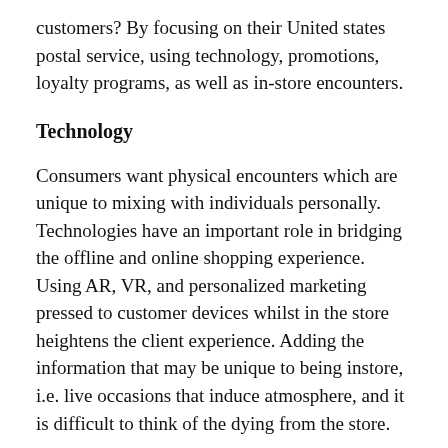customers? By focusing on their United states postal service, using technology, promotions, loyalty programs, as well as in-store encounters.
Technology
Consumers want physical encounters which are unique to mixing with individuals personally. Technologies have an important role in bridging the offline and online shopping experience. Using AR, VR, and personalized marketing pressed to customer devices whilst in the store heightens the client experience. Adding the information that may be unique to being instore, i.e. live occasions that induce atmosphere, and it is difficult to think of the dying from the store.
Shopping Local